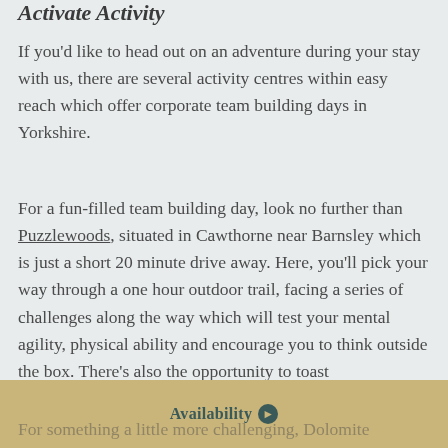Activate Activity
If you'd like to head out on an adventure during your stay with us, there are several activity centres within easy reach which offer corporate team building days in Yorkshire.
For a fun-filled team building day, look no further than Puzzlewoods, situated in Cawthorne near Barnsley which is just a short 20 minute drive away. Here, you'll pick your way through a one hour outdoor trail, facing a series of challenges along the way which will test your mental agility, physical ability and encourage you to think outside the box. There's also the opportunity to toast marshmallows around a fire.
Availability
For something a little more challenging, Dolomite...